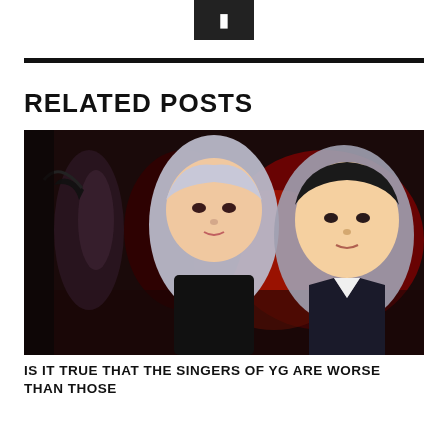[Figure (logo): Dark square logo with a play/bookmark icon in white]
RELATED POSTS
[Figure (photo): Composite photo of K-pop performers: a female dancer on stage on the left, a male with silver/grey hair in the center, and a male with dark hair in a suit on the right, against a red-lit background]
IS IT TRUE THAT THE SINGERS OF YG ARE WORSE THAN THOSE